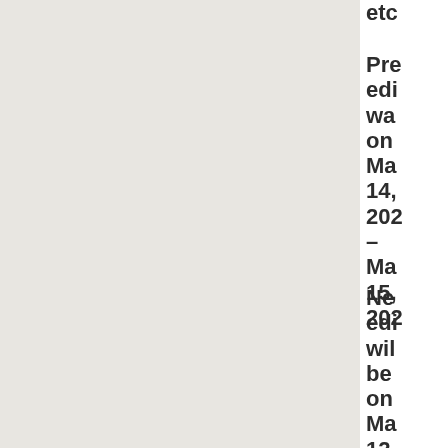etc
Previous edition was on May 14, 2022 – May 15, 2022
Next edition will be on May 12, 2022 - May 14,